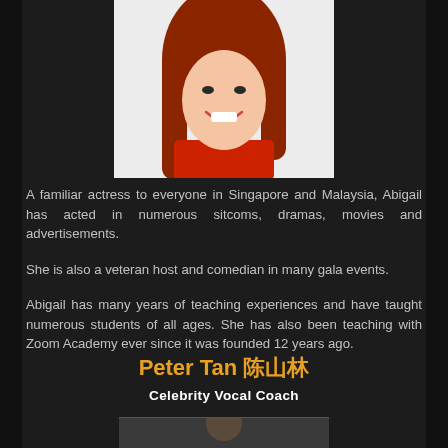[Figure (photo): Portrait photo of a woman with long red hair wearing a red top, smiling, against a white background]
A familiar actress to everyone in Singapore and Malaysia, Abigail has acted in numerous sitcoms, dramas, movies and advertisements.
She is also a veteran host and comedian in many gala events.
Abigail has many years of teaching experiences and have taught numerous students of all ages. She has also been teaching with Zoom Academy ever since it was founded 12 years ago.
Peter Tan 陈XX
Celebrity Vocal Coach
[Figure (photo): Partial photo at the bottom of the page, cropped]